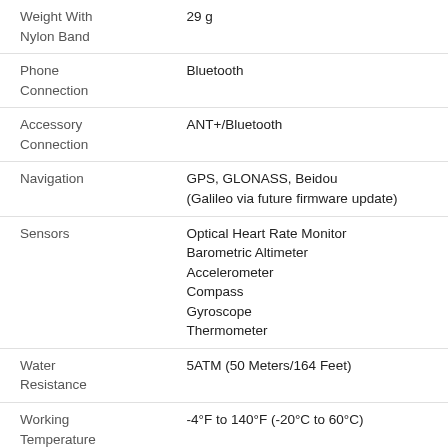| Specification | Value |
| --- | --- |
| Weight With Nylon Band | 29 g |
| Phone Connection | Bluetooth |
| Accessory Connection | ANT+/Bluetooth |
| Navigation | GPS, GLONASS, Beidou
(Galileo via future firmware update) |
| Sensors | Optical Heart Rate Monitor
Barometric Altimeter
Accelerometer
Compass
Gyroscope
Thermometer |
| Water Resistance | 5ATM (50 Meters/164 Feet) |
| Working Temperature | -4°F to 140°F (-20°C to 60°C) |
| Storage Temperature | -4°F to 149°F (-20°C to 65°C) |
| Charging Time | Less than 2 Hours |
| Battery Life | 20 days of regular use
30 hours in Full GPS mode
60 hours in UltraMax mode |
| Supported | Run, Indoor Run, Track Run, Bike, Indoor Bike, Pool Swim, Open Water, Triathlon, Gym Cardio |